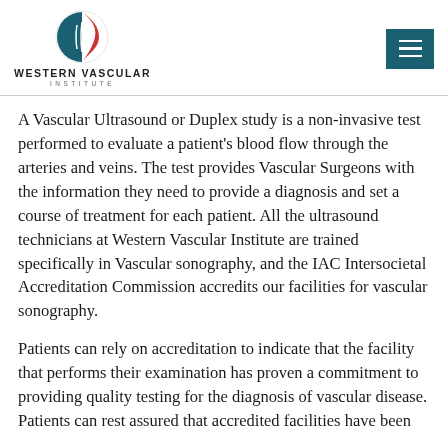[Figure (logo): Western Vascular Institute logo with circular emblem (blue and red vascular design) above the institute name]
A Vascular Ultrasound or Duplex study is a non-invasive test performed to evaluate a patient's blood flow through the arteries and veins. The test provides Vascular Surgeons with the information they need to provide a diagnosis and set a course of treatment for each patient. All the ultrasound technicians at Western Vascular Institute are trained specifically in Vascular sonography, and the IAC Intersocietal Accreditation Commission accredits our facilities for vascular sonography.
Patients can rely on accreditation to indicate that the facility that performs their examination has proven a commitment to providing quality testing for the diagnosis of vascular disease. Patients can rest assured that accredited facilities have been